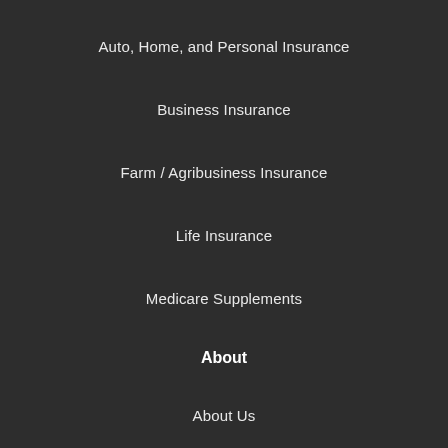Auto, Home, and Personal Insurance
Business Insurance
Farm / Agribusiness Insurance
Life Insurance
Medicare Supplements
About
About Us